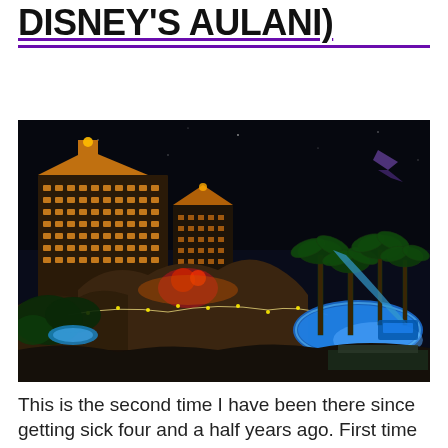DISNEY'S AULANI)
[Figure (photo): Night-time aerial view of Disney's Aulani resort in Hawaii, showing tall hotel buildings with illuminated windows, tropical grounds with palm trees, pool areas with blue lighting, and rocky landscape features lit with warm orange lights against a dark sky.]
This is the second time I have been there since getting sick four and a half years ago. First time